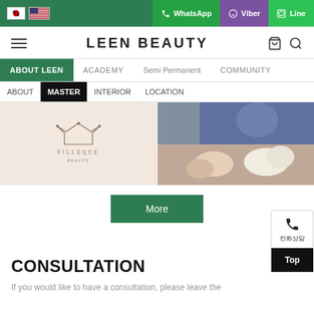🇰🇷 🇺🇸  WhatsApp  Viber  Line
LEEN BEAUTY
ABOUT LEEN  ACADEMY  Semi Permanent  COMMUNITY
ABOUT  MASTER  INTERIOR  LOCATION
[Figure (photo): Left image showing Filleque beauty logo on light beige background; right image showing hands with gloves performing a beauty treatment]
More
CONSULTATION
If you would like to have a consultation, please leave the